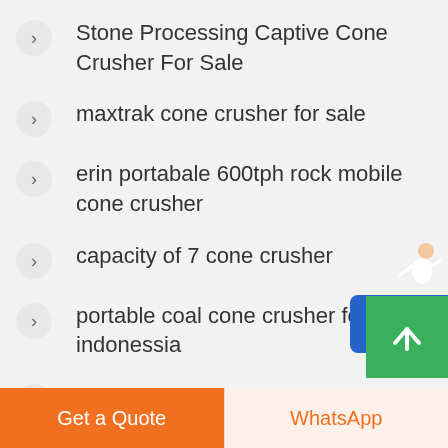Stone Processing Captive Cone Crusher For Sale
maxtrak cone crusher for sale
erin portabale 600tph rock mobile cone crusher
capacity of 7 cone crusher
portable coal cone crusher for hire indonessia
Perbedaan Antara Rahang Dan Crush…
[Figure (illustration): Free chat widget button (blue rounded rectangle with 'Free chat' text and small person figure) fixed on right side]
[Figure (illustration): Green scroll-to-top button with upward arrow, bottom right]
Get a Quote
WhatsApp